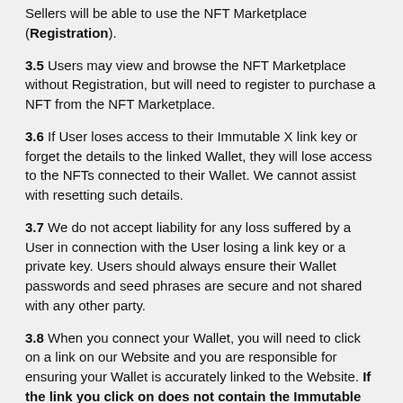Sellers will be able to use the NFT Marketplace (Registration).
3.5 Users may view and browse the NFT Marketplace without Registration, but will need to register to purchase a NFT from the NFT Marketplace.
3.6 If User loses access to their Immutable X link key or forget the details to the linked Wallet, they will lose access to the NFTs connected to their Wallet. We cannot assist with resetting such details.
3.7 We do not accept liability for any loss suffered by a User in connection with the User losing a link key or a private key. Users should always ensure their Wallet passwords and seed phrases are secure and not shared with any other party.
3.8 When you connect your Wallet, you will need to click on a link on our Website and you are responsible for ensuring your Wallet is accurately linked to the Website. If the link you click on does not contain the Immutable URL https://link.x.immutable.com/, you must not click on it as it may be a hostile link. Clicking on a hostile link may enable someone to obtain your private key and use it to steal your digital assets.